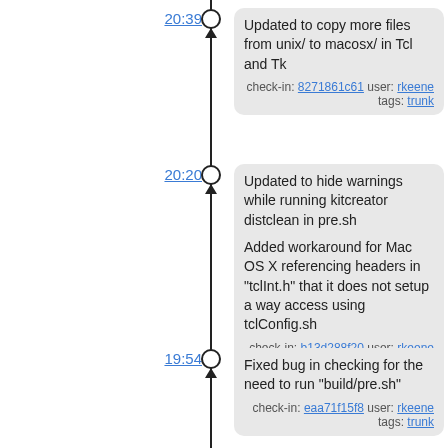20:39 - Updated to copy more files from unix/ to macosx/ in Tcl and Tk. check-in: 8271861c61 user: rkeene tags: trunk
20:20 - Updated to hide warnings while running kitcreator distclean in pre.sh. Added workaround for Mac OS X referencing headers in "tclInt.h" that it does not setup a way access using tclConfig.sh. check-in: b13d288f20 user: rkeene tags: trunk
19:54 - Fixed bug in checking for the need to run "build/pre.sh". check-in: eaa71f15f8 user: rkeene tags: trunk
19:26 - Updated to warn if KitCreator is run and "pre.sh" has not been run. check-in: 95c04d527f user: rkeene tags: trunk
19:08 - Updated to not use broken pre-generated Makefiles with Tk. check-in: fb277571b4 user: rkeene tags: trunk